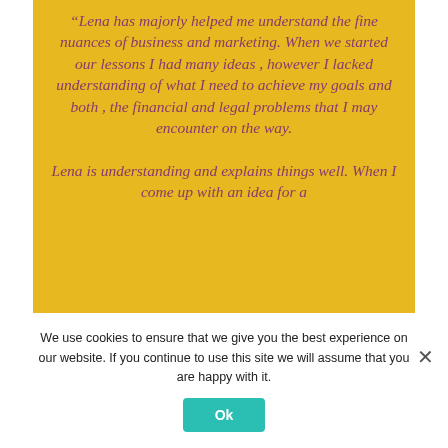"Lena has majorly helped me understand the fine nuances of business and marketing. When we started our lessons I had many ideas , however I lacked understanding of what I need to achieve my goals and both , the financial and legal problems that I may encounter on the way. Lena is understanding and explains things well. When I come up with an idea for a
We use cookies to ensure that we give you the best experience on our website. If you continue to use this site we will assume that you are happy with it.